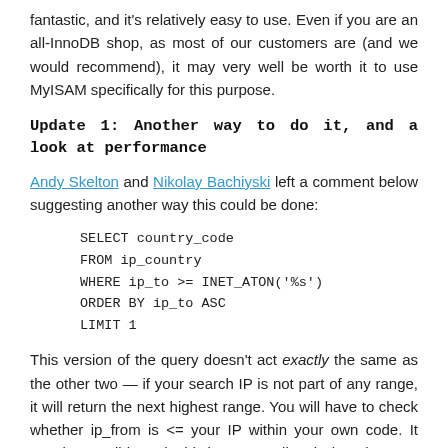fantastic, and it's relatively easy to use. Even if you are an all-InnoDB shop, as most of our customers are (and we would recommend), it may very well be worth it to use MyISAM specifically for this purpose.
Update 1: Another way to do it, and a look at performance
Andy Skelton and Nikolay Bachiyski left a comment below suggesting another way this could be done:
This version of the query doesn't act exactly the same as the other two — if your search IP is not part of any range, it will return the next highest range. You will have to check whether ip_from is <= your IP within your own code. It may be possible to do this in MySQL directly, but I haven't